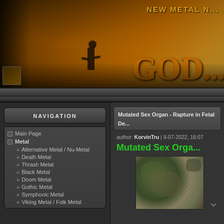[Figure (screenshot): Metal music website header banner with post-apocalyptic scene: person standing on debris overlooking ruined cityscape with orange sky. Text 'NEW METAL' visible top right with large stylized gothic/grunge lettering logo partially visible.]
NAVIGATION
Main Page
Metal
Alternative Metal / Nu-Metal
Death Metal
Thrash Metal
Black Metal
Doom Metal
Gothic Metal
Symphonic Metal
Viking Metal / Folk Metal
Mutated Sex Organ - Rapture in Fetal De...
author: KorvinTru | 9-07-2022, 16:07
Mutated Sex Orga...
[Figure (photo): Album art thumbnail showing blurry macro/close-up image with green/brown/grey organic textures]